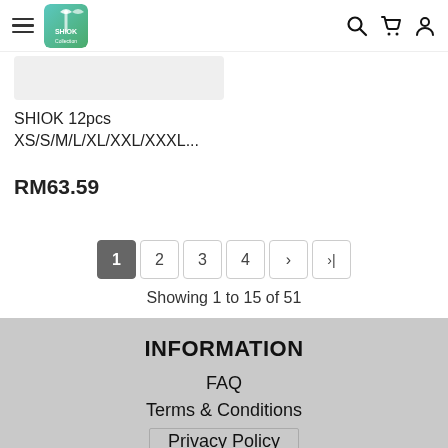Shiok Collection navigation header with hamburger menu, logo, search, cart, and account icons
[Figure (photo): Product image placeholder (light gray rectangle)]
SHIOK 12pcs XS/S/M/L/XL/XXL/XXXL...
RM63.59
Pagination: 1 2 3 4 > >|
Showing 1 to 15 of 51
INFORMATION
FAQ
Terms & Conditions
Privacy Policy